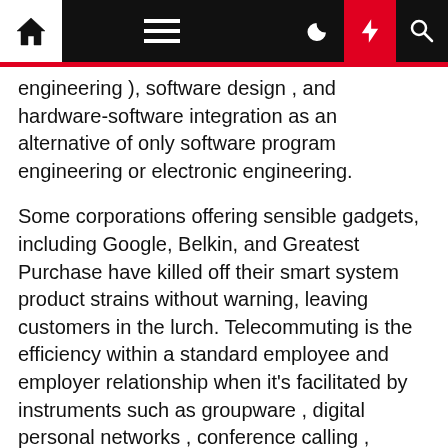Navigation bar with home, menu, dark mode, flash, and search icons
engineering ), software design , and hardware-software integration as an alternative of only software program engineering or electronic engineering.
Some corporations offering sensible gadgets, including Google, Belkin, and Greatest Purchase have killed off their smart system product strains without warning, leaving customers in the lurch. Telecommuting is the efficiency within a standard employee and employer relationship when it's facilitated by instruments such as groupware , digital personal networks , conference calling , videoconferencing , and VoIP in order that work may be carried out from any location, most conveniently the worker's home.
The start of [partial text cut off]